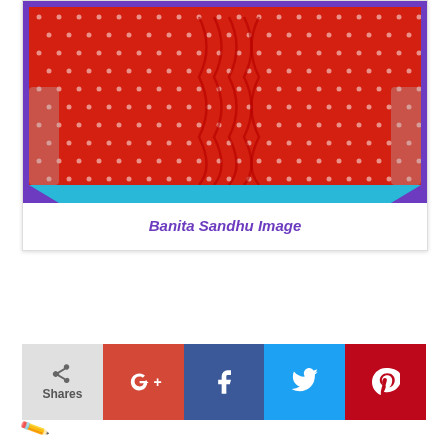[Figure (photo): Photo of Banita Sandhu wearing a red polka-dot ruffled blouse, seated on a sofa. Image is framed with a purple border on sides and a cyan/teal trapezoid bar at the bottom of the image area.]
Banita Sandhu Image
[Figure (infographic): Social sharing bar with: Shares button (grey), Google+ button (red), Facebook button (dark blue), Twitter button (light blue), Pinterest button (dark red). Below left is a pencil/edit icon.]